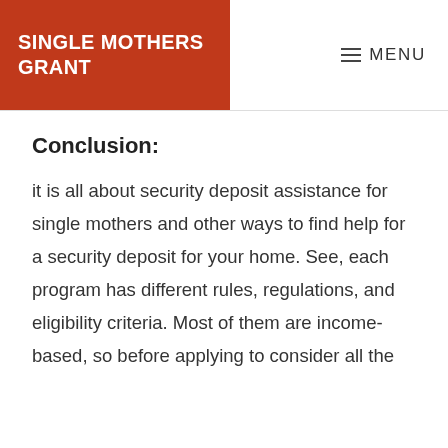SINGLE MOTHERS GRANT
MENU
Conclusion:
it is all about security deposit assistance for single mothers and other ways to find help for a security deposit for your home. See, each program has different rules, regulations, and eligibility criteria. Most of them are income-based, so before applying to consider all the